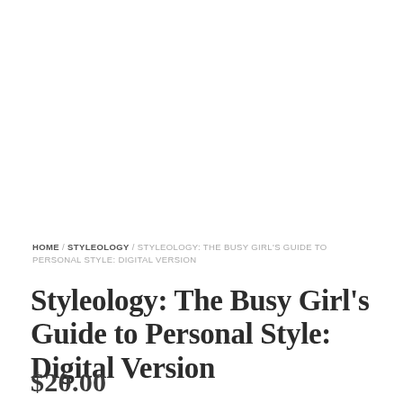HOME / STYLEOLOGY / STYLEOLOGY: THE BUSY GIRL'S GUIDE TO PERSONAL STYLE: DIGITAL VERSION
Styleology: The Busy Girl's Guide to Personal Style: Digital Version
$20.00